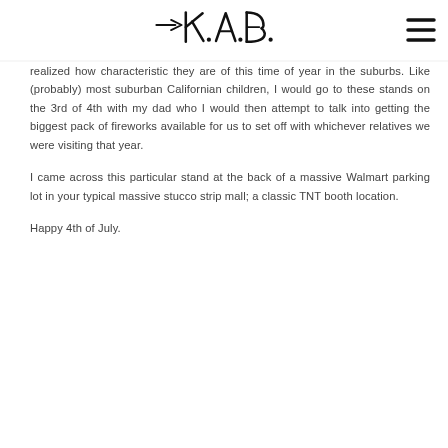[Figure (logo): KAB handwritten/brush script logo with a hamburger menu icon in upper right]
realized how characteristic they are of this time of year in the suburbs. Like (probably) most suburban Californian children, I would go to these stands on the 3rd of 4th with my dad who I would then attempt to talk into getting the biggest pack of fireworks available for us to set off with whichever relatives we were visiting that year.
I came across this particular stand at the back of a massive Walmart parking lot in your typical massive stucco strip mall; a classic TNT booth location.
Happy 4th of July.